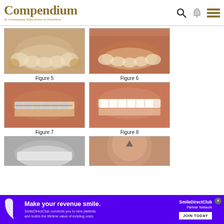Compendium of Continuing Education in Dentistry
[Figure (photo): Occlusal view of upper dental arch showing teeth arrangement - Figure 5]
Figure 5
[Figure (photo): Occlusal view of lower dental arch showing teeth arrangement - Figure 6]
Figure 6
[Figure (photo): Frontal intraoral view showing braces on teeth - Figure 7]
Figure 7
[Figure (photo): Frontal intraoral view showing teeth after orthodontic treatment - Figure 8]
Figure 8
[Figure (photo): Partial view of dental model cast - partially visible at bottom]
[Figure (photo): Partial view of dental model or tooth - partially visible at bottom]
Make your revenue smile. SmileDirectClub connects you to new patients and builds the lifetime value of existing ones. SmileDirectClub Partner Network JOIN TODAY